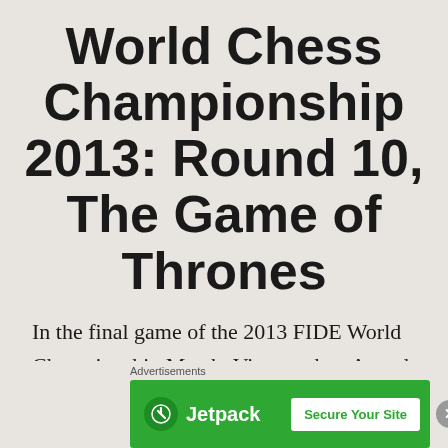World Chess Championship 2013: Round 10, The Game of Thrones
In the final game of the 2013 FIDE World Championship Match, Viswanathan Anand employed the Sicilian Defense with poor effect against Carlsen's Moscow Variation. Magnus cruised through the opening with a nice advantage
[Figure (other): Jetpack advertisement banner with green background, Jetpack logo and 'Secure Your Site' button]